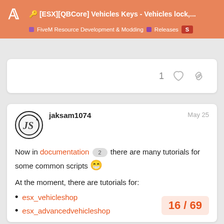[ESX][QBCore] Vehicles Keys - Vehicles lock,... | FiveM Resource Development & Modding | Releases
1 (like) (link)
jaksam1074  May 25
Now in documentation 2 there are many tutorials for some common scripts 😁
At the moment, there are tutorials for:
esx_vehicleshop
esx_advancedvehicleshop
esx_contract
qb-vehicleshop 3
okokVehicleShop 1
s4-vehicleshop 2
16 / 69